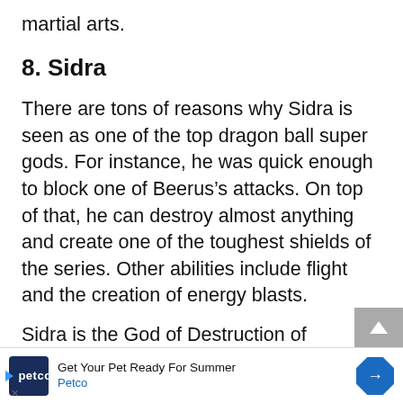martial arts.
8. Sidra
There are tons of reasons why Sidra is seen as one of the top dragon ball super gods. For instance, he was quick enough to block one of Beerus’s attacks. On top of that, he can destroy almost anything and create one of the toughest shields of the series. Other abilities include flight and the creation of energy blasts.
Sidra is the God of Destruction of